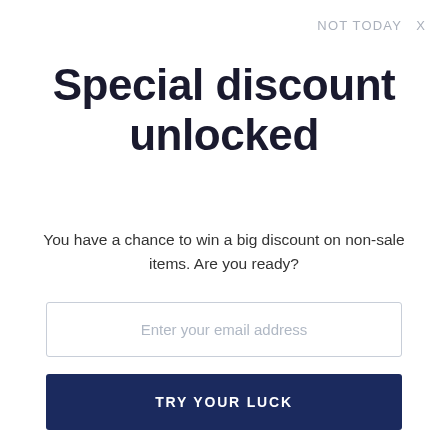NOT TODAY  X
Special discount unlocked
You have a chance to win a big discount on non-sale items. Are you ready?
Enter your email address
TRY YOUR LUCK
Rules - Discounts on Non-Sale Items Only
You can spin the wheel only once.
If you win, you can claim your coupon!